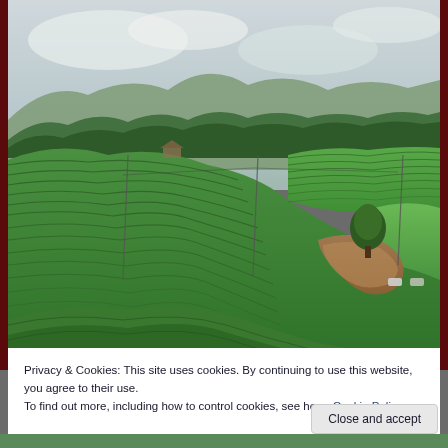[Figure (photo): Aerial view of lush green tea plantation on rolling hillsides with misty mountains and trees in the background. A single tree stands in the middle of the terraced green fields. Brown erosion/landslide visible in the lower center of the image.]
Privacy & Cookies: This site uses cookies. By continuing to use this website, you agree to their use.
To find out more, including how to control cookies, see here: Cookie Policy
Close and accept